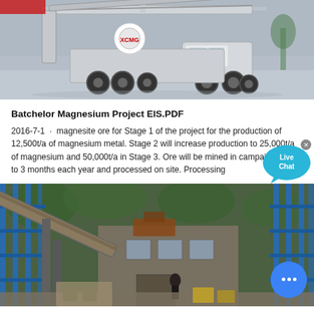[Figure (photo): Large industrial crane/concrete pump truck on a reflective floor at an exhibition or trade show, white and grey machinery]
Batchelor Magnesium Project EIS.PDF
2016-7-1 · magnesite ore for Stage 1 of the project for the production of 12,500t/a of magnesium metal. Stage 2 will increase production to 25,000t/a of magnesium and 50,000t/a in Stage 3. Ore will be mined in campaigns for 2 to 3 months each year and processed on site. Processing
[Figure (photo): Industrial mining processing facility with blue metal scaffolding/framework, stone walls, and conveyor belt equipment. Workers visible.]